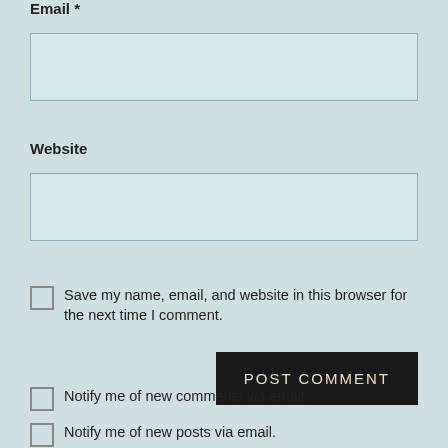[Figure (screenshot): Partial top of a text input field (cut off at top of page)]
Email *
[Figure (screenshot): Email text input field, empty, light blue background]
Website
[Figure (screenshot): Website text input field, empty, light blue background]
Save my name, email, and website in this browser for the next time I comment.
Post Comment
Notify me of new comments via email.
Notify me of new posts via email.